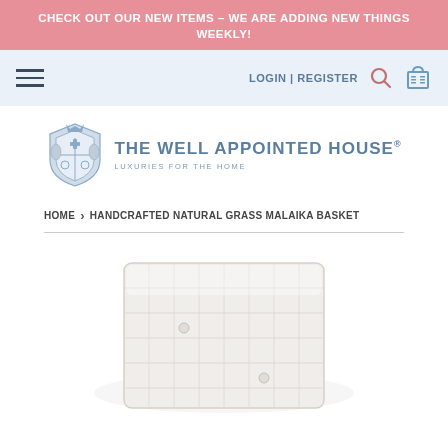CHECK OUT OUR NEW ITEMS – WE ARE ADDING NEW THINGS WEEKLY!
LOGIN | REGISTER
[Figure (logo): The Well Appointed House logo with crest and tagline 'Luxuries for the Home']
HOME › HANDCRAFTED NATURAL GRASS MALAIKA BASKET
[Figure (photo): Partial product image of a handcrafted natural grass Malaika basket, shown as a white/light-colored woven basket from above]